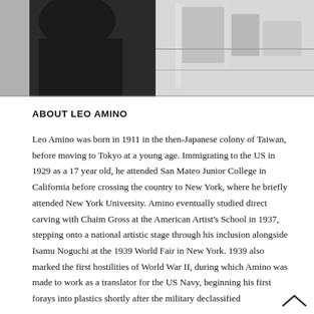[Figure (photo): Black and white photograph of Leo Amino working, cropped to show upper portion of figure against a light background with studio/workshop elements visible.]
ABOUT LEO AMINO
Leo Amino was born in 1911 in the then-Japanese colony of Taiwan, before moving to Tokyo at a young age. Immigrating to the US in 1929 as a 17 year old, he attended San Mateo Junior College in California before crossing the country to New York, where he briefly attended New York University. Amino eventually studied direct carving with Chaim Gross at the American Artist's School in 1937, stepping onto a national artistic stage through his inclusion alongside Isamu Noguchi at the 1939 World Fair in New York. 1939 also marked the first hostilities of World War II, during which Amino was made to work as a translator for the US Navy, beginning his first forays into plastics shortly after the military declassified polyester resin. Their transparent, malleable qualities inspired his